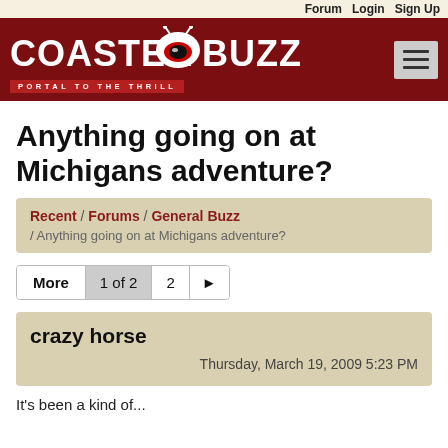Forum  Login  Sign Up
[Figure (logo): CoasterBuzz logo with tagline 'Portal to the Thrill' on dark red background, with hamburger menu button]
Anything going on at Michigans adventure?
Recent / Forums / General Buzz / Anything going on at Michigans adventure?
More  1 of 2  2  ►▮
crazy horse
Thursday, March 19, 2009 5:23 PM
It's been a kind of...